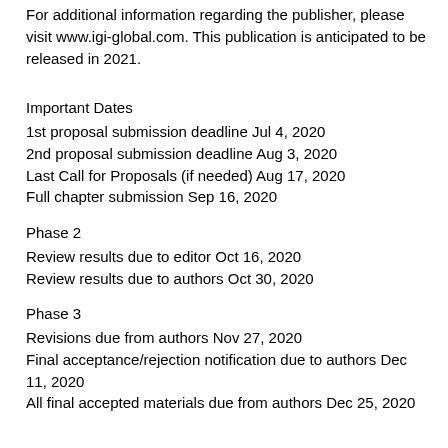For additional information regarding the publisher, please visit www.igi-global.com. This publication is anticipated to be released in 2021.
Important Dates
1st proposal submission deadline Jul 4, 2020
2nd proposal submission deadline Aug 3, 2020
Last Call for Proposals (if needed) Aug 17, 2020
Full chapter submission Sep 16, 2020
Phase 2
Review results due to editor Oct 16, 2020
Review results due to authors Oct 30, 2020
Phase 3
Revisions due from authors Nov 27, 2020
Final acceptance/rejection notification due to authors Dec 11, 2020
All final accepted materials due from authors Dec 25, 2020